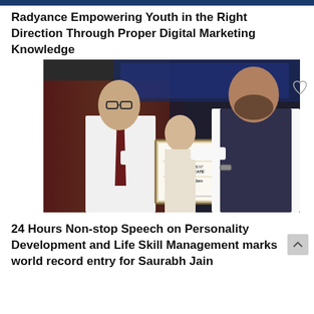Radyance Empowering Youth in the Right Direction Through Proper Digital Marketing Knowledge
[Figure (photo): Two men holding a framed recognition certificate on stage. A third person is visible in the background. The certificate reads 'WORLD BOOK OF RECORDS - ACHIEVEMENT CERTIFICATE - Saurabh Jain'. The man on the left wears a white shirt and dark tie, the man on the right wears a dark vest over white shirt.]
24 Hours Non-stop Speech on Personality Development and Life Skill Management marks world record entry for Saurabh Jain